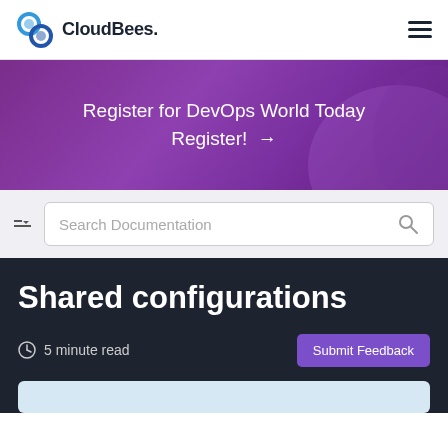CloudBees.
[Figure (screenshot): CloudBees logo — two interlocking circles icon in blue/teal and the text CloudBees.]
Register for DevOps World Today
Register! →
[Figure (screenshot): TOC/sidebar toggle icon with arrow and horizontal lines]
Search Documentation
Shared configurations
5 minute read
Submit Feedback